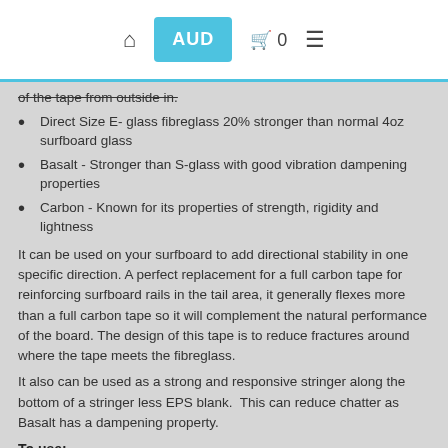AUD  🛒 0  ☰
of the tape from outside in.
Direct Size E- glass fibreglass 20% stronger than normal 4oz surfboard glass
Basalt - Stronger than S-glass with good vibration dampening properties
Carbon - Known for its properties of strength, rigidity and lightness
It can be used on your surfboard to add directional stability in one specific direction. A perfect replacement for a full carbon tape for reinforcing surfboard rails in the tail area, it generally flexes more than a full carbon tape so it will complement the natural performance of the board. The design of this tape is to reduce fractures around where the tape meets the fibreglass.
It also can be used as a strong and responsive stringer along the bottom of a stringer less EPS blank.  This can reduce chatter as Basalt has a dampening property.
To use:-
Laminate the Carbon Basalt Slap tape directly to the foam...